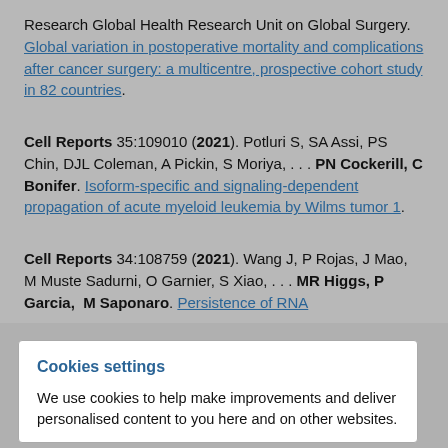Research Global Health Research Unit on Global Surgery. Global variation in postoperative mortality and complications after cancer surgery: a multicentre, prospective cohort study in 82 countries.
Cell Reports 35:109010 (2021). Potluri S, SA Assi, PS Chin, DJL Coleman, A Pickin, S Moriya, . . . PN Cockerill, C Bonifer. Isoform-specific and signaling-dependent propagation of acute myeloid leukemia by Wilms tumor 1.
Cell Reports 34:108759 (2021). Wang J, P Rojas, J Mao, M Muste Sadurni, O Garnier, S Xiao, . . . MR Higgs, P Garcia, M Saponaro. Persistence of RNA
Cookies settings
We use cookies to help make improvements and deliver personalised content to you here and on other websites.